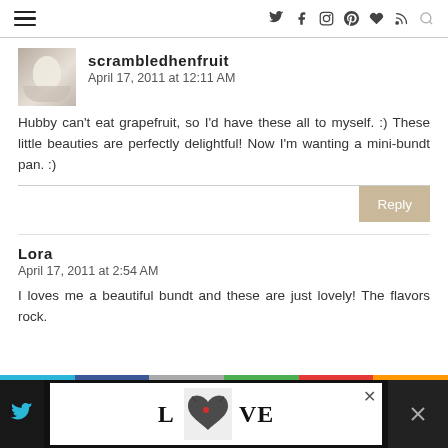Navigation header with hamburger menu and social icons: twitter, facebook, instagram, pinterest, heart, rss, search
[Figure (photo): Avatar thumbnail of an egg in a bowl]
scrambledhenfruit
April 17, 2011 at 12:11 AM
Hubby can't eat grapefruit, so I'd have these all to myself. :) These little beauties are perfectly delightful! Now I'm wanting a mini-bundt pan. :)
Reply
Lora
April 17, 2011 at 2:54 AM
I loves me a beautiful bundt and these are just lovely! The flavors rock.
[Figure (illustration): LOVE decorative advertisement banner at bottom of page]